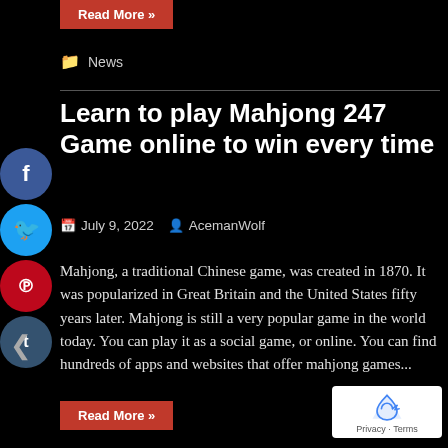Read More »
News
Learn to play Mahjong 247 Game online to win every time
July 9, 2022   AcemanWolf
Mahjong, a traditional Chinese game, was created in 1870. It was popularized in Great Britain and the United States fifty years later. Mahjong is still a very popular game in the world today. You can play it as a social game, or online. You can find hundreds of apps and websites that offer mahjong games...
Read More »